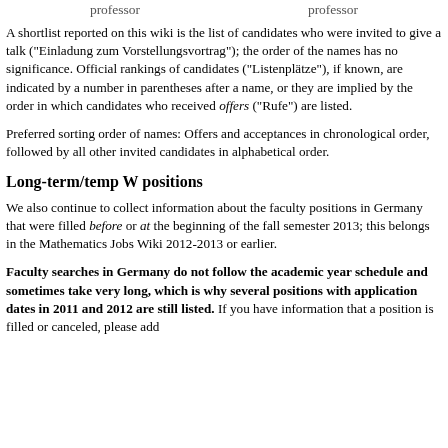professor   professor
A shortlist reported on this wiki is the list of candidates who were invited to give a talk ("Einladung zum Vorstellungsvortrag"); the order of the names has no significance. Official rankings of candidates ("Listenplätze"), if known, are indicated by a number in parentheses after a name, or they are implied by the order in which candidates who received offers ("Rufe") are listed.
Preferred sorting order of names: Offers and acceptances in chronological order, followed by all other invited candidates in alphabetical order.
Long-term/temp W positions
We also continue to collect information about the faculty positions in Germany that were filled before or at the beginning of the fall semester 2013; this belongs in the Mathematics Jobs Wiki 2012-2013 or earlier.
Faculty searches in Germany do not follow the academic year schedule and sometimes take very long, which is why several positions with application dates in 2011 and 2012 are still listed. If you have information that a position is filled or canceled, please add